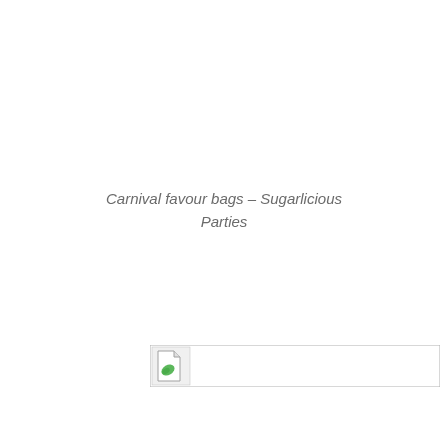Carnival favour bags – Sugarlicious Parties
[Figure (other): A broken/missing image placeholder icon — small document icon with a green leaf, inside a rectangular bordered box]